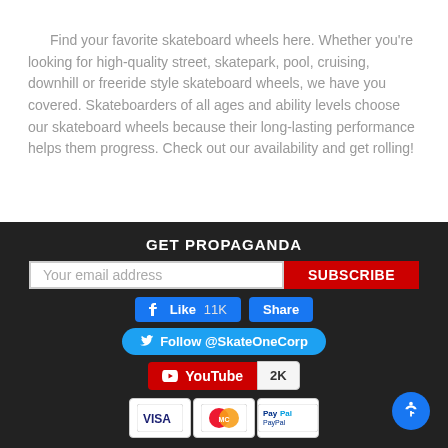Find your favorite skateboard wheels here. Whether you're looking for high-quality street, skatepark, pool, cruising, downhill or freeride style skateboard wheels, we have you covered. Skateboarders of all ages and ability levels choose our skateboard wheels because their long-lasting performance helps them progress. Check out our availability and get rolling!
GET PROPAGANDA
[Figure (screenshot): Email subscription bar with 'Your email address' input field and red 'SUBSCRIBE' button]
[Figure (screenshot): Facebook Like 11K and Share buttons]
[Figure (screenshot): Twitter Follow @SkateOneCorp button]
[Figure (screenshot): YouTube subscribe button with 2K count]
[Figure (screenshot): Payment method icons: Visa, MasterCard, PayPal]